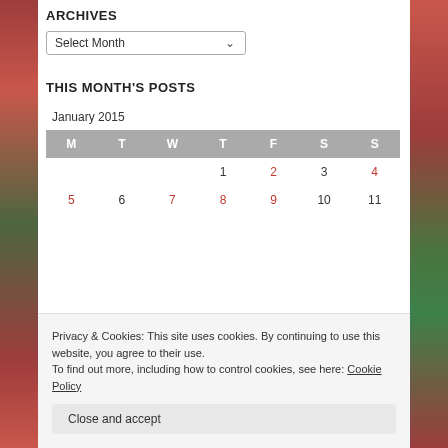ARCHIVES
Select Month
THIS MONTH'S POSTS
January 2015
| M | T | W | T | F | S | S |
| --- | --- | --- | --- | --- | --- | --- |
|  |  |  | 1 | 2 | 3 | 4 |
| 5 | 6 | 7 | 8 | 9 | 10 | 11 |
Privacy & Cookies: This site uses cookies. By continuing to use this website, you agree to their use.
To find out more, including how to control cookies, see here: Cookie Policy
Close and accept